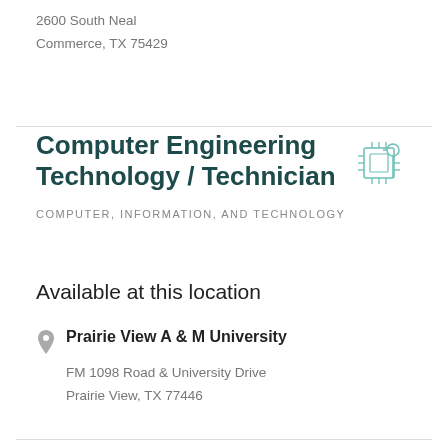2600 South Neal
Commerce, TX 75429
Computer Engineering Technology / Technician
COMPUTER, INFORMATION, AND TECHNOLOGY
Available at this location
Prairie View A & M University
FM 1098 Road & University Drive
Prairie View, TX 77446